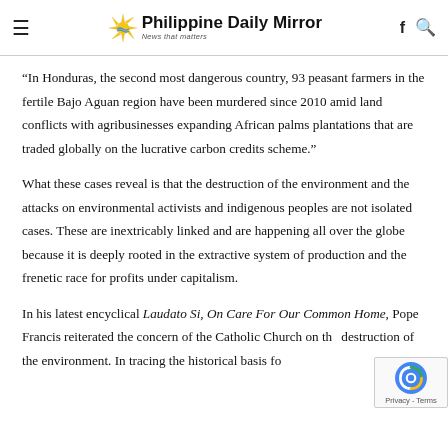Philippine Daily Mirror — News that matters
“In Honduras, the second most dangerous country, 93 peasant farmers in the fertile Bajo Aguan region have been murdered since 2010 amid land conflicts with agribusinesses expanding African palms plantations that are traded globally on the lucrative carbon credits scheme.”
What these cases reveal is that the destruction of the environment and the attacks on environmental activists and indigenous peoples are not isolated cases. These are inextricably linked and are happening all over the globe because it is deeply rooted in the extractive system of production and the frenetic race for profits under capitalism.
In his latest encyclical Laudato Si, On Care For Our Common Home, Pope Francis reiterated the concern of the Catholic Church on the destruction of the environment. In tracing the historical basis fo...